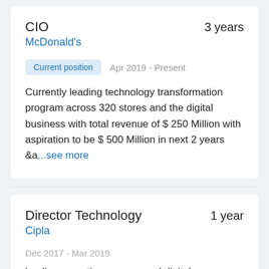CIO
3 years
McDonald's
Current position   Apr 2019 - Present
Currently leading technology transformation program across 320 stores and the digital business with total revenue of $ 250 Million with aspiration to be $ 500 Million in next 2 years &a...see more
Director Technology
1 year
Cipla
Dec 2017 - Mar 2019